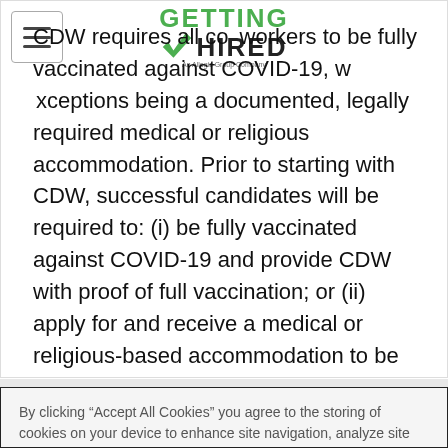[Figure (logo): Getting Hired logo with green checkmark, an Allegis Group Company]
CDW requires all coworkers to be fully vaccinated against COVID-19, with only exceptions being a documented, legally required medical or religious accommodation. Prior to starting with CDW, successful candidates will be required to: (i) be fully vaccinated against COVID-19 and provide CDW with proof of full vaccination; or (ii) apply for and receive a medical or religious-based accommodation to be exempt from the mandatory vaccination policy.
By clicking “Accept All Cookies” you agree to the storing of cookies on your device to enhance site navigation, analyze site usage and assist in our marketing efforts. To learn more about our use of